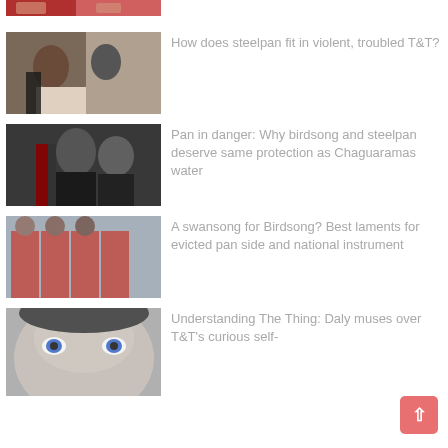[Figure (photo): Cropped top portion of a photo showing people in red clothing]
[Figure (photo): Two women on a street, one dancing or gesturing]
How does steelpan fit in violent, troubled T&T?
[Figure (photo): Two men in formal attire, one appears to be a bishop or clergy]
Pan in danger: Why birdsong and steelpan deserve same protection as Chaguaramas water
[Figure (photo): Group of people in red t-shirts at what appears to be a steelpan event]
A swansong for Birdsong? Best laments for evicted pan side and national instrument
[Figure (photo): Close-up black and white photo of a child's face with striking blue eyes]
Understanding The Thing: Daly muses over T&T's curious self-